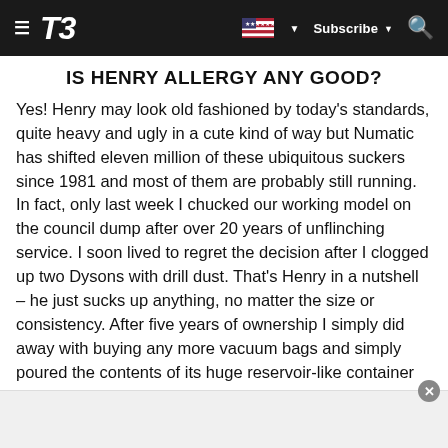T3 — Subscribe
IS HENRY ALLERGY ANY GOOD?
Yes! Henry may look old fashioned by today's standards, quite heavy and ugly in a cute kind of way but Numatic has shifted eleven million of these ubiquitous suckers since 1981 and most of them are probably still running. In fact, only last week I chucked our working model on the council dump after over 20 years of unflinching service. I soon lived to regret the decision after I clogged up two Dysons with drill dust. That's Henry in a nutshell – he just sucks up anything, no matter the size or consistency. After five years of ownership I simply did away with buying any more vacuum bags and simply poured the contents of its huge reservoir-like container straight into the bin.